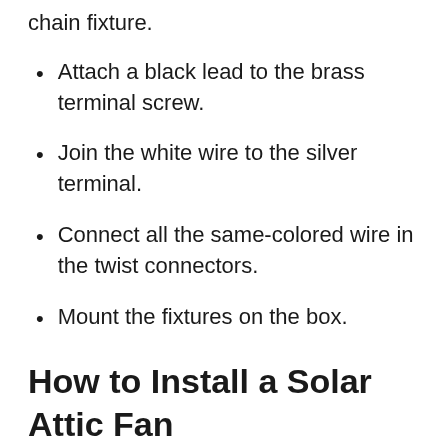chain fixture.
Attach a black lead to the brass terminal screw.
Join the white wire to the silver terminal.
Connect all the same-colored wire in the twist connectors.
Mount the fixtures on the box.
How to Install a Solar Attic Fan
Mark the space between both rafters for the solar-powered vent.
…